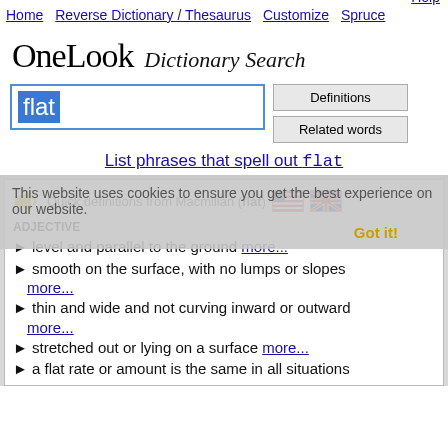Home  Reverse Dictionary / Thesaurus  Customize  Spruce  Help
OneLook Dictionary Search
[Figure (screenshot): Search input box with text 'flat' highlighted in blue, plus Definitions and Related words buttons]
List phrases that spell out flat
This website uses cookies to ensure you get the best experience on our website.  Got it!
Quick definitions from Macmillan (flat)
ADJECTIVE
level and parallel to the ground more...
smooth on the surface, with no lumps or slopes more...
thin and wide and not curving inward or outward more...
stretched out or lying on a surface more...
a flat rate or amount is the same in all situations